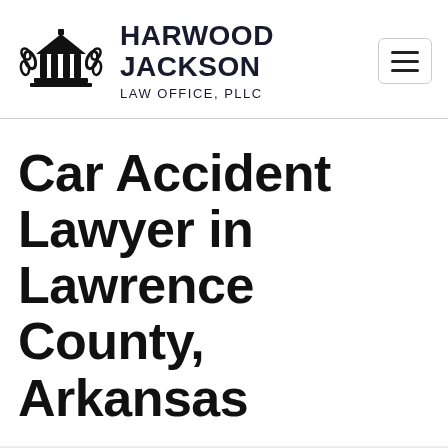[Figure (logo): Harwood Jackson Law Office PLLC logo with courthouse/pillars icon and laurel wreath]
Car Accident Lawyer in Lawrence County, Arkansas
A number of experiences make the mix of anxiety, confusion, and stress that outcomes from a car accident. Come and we can at the